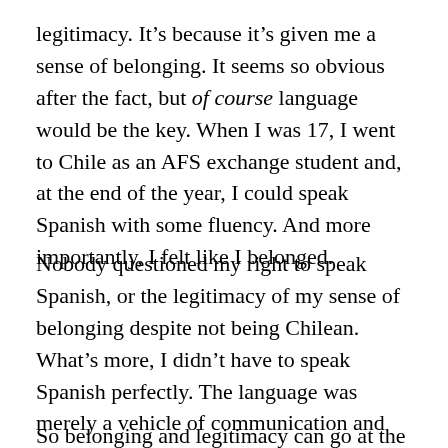legitimacy. It's because it's given me a sense of belonging. It seems so obvious after the fact, but of course language would be the key. When I was 17, I went to Chile as an AFS exchange student and, at the end of the year, I could speak Spanish with some fluency. And more importantly, I felt like I belonged.
Nobody questioned my right to speak Spanish, or the legitimacy of my sense of belonging despite not being Chilean. What's more, I didn't have to speak Spanish perfectly. The language was merely a vehicle of communication and connection, at the same time as it gave me a new lens through which to view the world.
So belonging and legitimacy can go at the